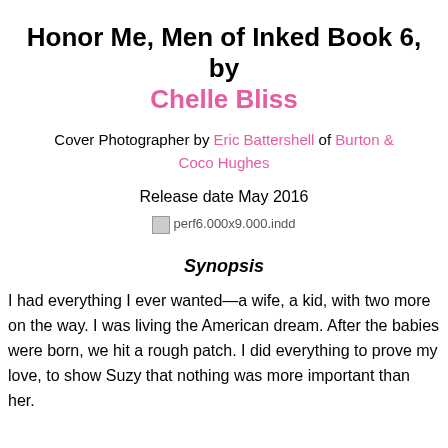Honor Me, Men of Inked Book 6, by Chelle Bliss
Cover Photographer by Eric Battershell of Burton & Coco Hughes
Release date May 2016
[Figure (other): Broken image placeholder labeled perf6.000x9.000.indd]
Synopsis
I had everything I ever wanted—a wife, a kid, with two more on the way. I was living the American dream. After the babies were born, we hit a rough patch. I did everything to prove my love, to show Suzy that nothing was more important than her.